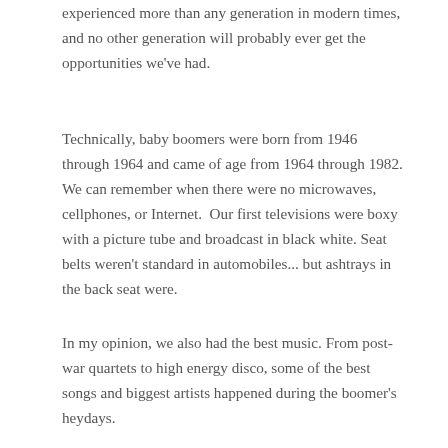experienced more than any generation in modern times, and no other generation will probably ever get the opportunities we've had.
Technically, baby boomers were born from 1946 through 1964 and came of age from 1964 through 1982. We can remember when there were no microwaves, cellphones, or Internet.  Our first televisions were boxy with a picture tube and broadcast in black white. Seat belts weren't standard in automobiles... but ashtrays in the back seat were.
In my opinion, we also had the best music. From post-war quartets to high energy disco, some of the best songs and biggest artists happened during the boomer's heydays.